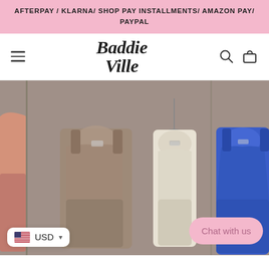AFTERPAY / KLARNA/ SHOP PAY INSTALLMENTS/ AMAZON PAY/ PAYPAL
Baddie Ville
[Figure (photo): E-commerce website screenshot showing the Baddie Ville storefront with a pink payment methods banner at top, logo navigation bar, and product photo showing multiple ribbed bodysuit/romper garments laid flat in pink, taupe, cream/white, and blue colors on a concrete background. Currency selector showing USD and a pink 'Chat with us' button are overlaid on the product image.]